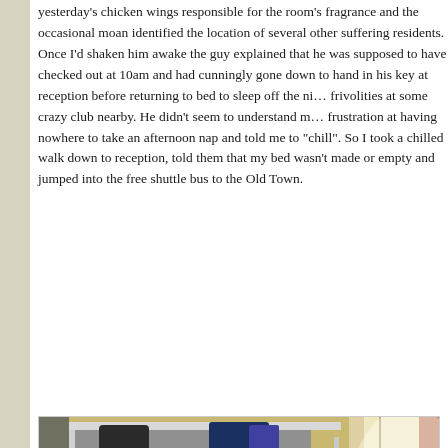yesterday's chicken wings responsible for the room's fragrance and the occasional moan identified the location of several other suffering residents. Once I'd shaken him awake the guy explained that he was supposed to have checked out at 10am and had cunningly gone down to hand in his key at reception before returning to bed to sleep off the night's frivolities at some crazy club nearby. He didn't seem to understand my frustration at having nowhere to take an afternoon nap and told me to "chill". So I took a chilled walk down to reception, told them that my bed wasn't made or empty and jumped into the free shuttle bus to the Old Town.
[Figure (photo): A cluttered hostel dormitory room with metal bunk beds. The room has yellow walls and a window with curtains on the right side letting in bright light. Luggage, bags, bottles, and various items are scattered on the floor and shelves. White bedding is visible on the lower bunk.]